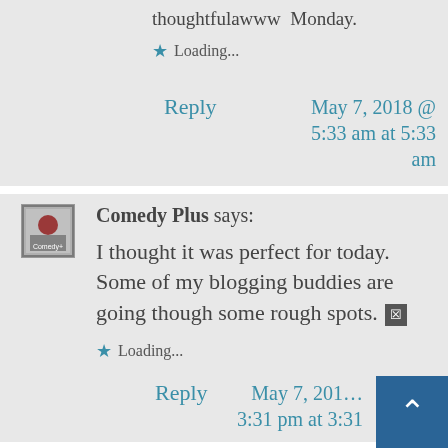thoughtfulawww Monday.
Loading...
Reply
May 7, 2018 @ 5:33 am at 5:33 am
Comedy Plus says:
I thought it was perfect for today. Some of my blogging buddies are going though some rough spots. 🗷
Loading...
Reply
May 7, 201… 3:31 pm at 3:31